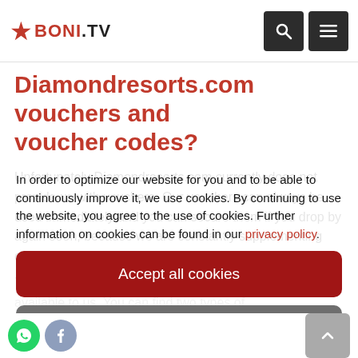BONI.TV
Diamondresorts.com vouchers and voucher codes?
Unfortunately Diamondresorts.com currently does not provide us with vouchers. Our vouchers can always be used immediately and you can secure them if you drop by again soon, because we are constantly supplementing our offer with the latest
In order to optimize our website for you and to be able to continuously improve it, we use cookies. By continuing to use the website, you agree to the use of cookies. Further information on cookies can be found in our privacy policy.
Accept all cookies
Cookie settings
Confirm necessary cookies